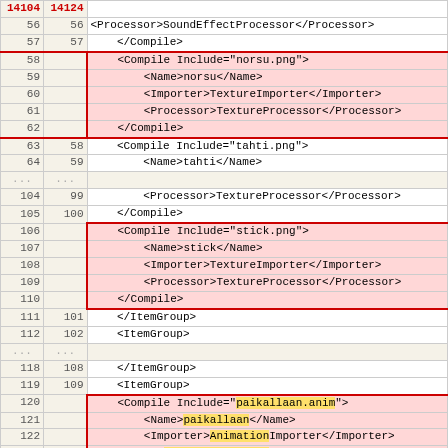| old | new | code |
| --- | --- | --- |
| 14104 | 14124 |  |
| 56 | 56 |     <Processor>SoundEffectProcessor</Processor> |
| 57 | 57 |     </Compile> |
| 58 |  |     <Compile Include="norsu.png"> |
| 59 |  |         <Name>norsu</Name> |
| 60 |  |         <Importer>TextureImporter</Importer> |
| 61 |  |         <Processor>TextureProcessor</Processor> |
| 62 |  |     </Compile> |
| 63 | 58 |     <Compile Include="tahti.png"> |
| 64 | 59 |         <Name>tahti</Name> |
| ... | ... |  |
| 104 | 99 |         <Processor>TextureProcessor</Processor> |
| 105 | 100 |     </Compile> |
| 106 |  |     <Compile Include="stick.png"> |
| 107 |  |         <Name>stick</Name> |
| 108 |  |         <Importer>TextureImporter</Importer> |
| 109 |  |         <Processor>TextureProcessor</Processor> |
| 110 |  |     </Compile> |
| 111 | 101 |     </ItemGroup> |
| 112 | 102 |     <ItemGroup> |
| ... | ... |  |
| 118 | 108 |     </ItemGroup> |
| 119 | 109 |     <ItemGroup> |
| 120 |  |     <Compile Include="paikallaan.anim"> |
| 121 |  |         <Name>paikallaan</Name> |
| 122 |  |         <Importer>AnimationImporter</Importer> |
| 123 |  | <Processor>AnimationContentProcessor</Processor> |
|  | 110 |     <Compile Include="kentta1_musiikki.mp3"> |
|  | 111 |         <Name>kentta1_musiikki</Name> |
|  | 112 |         <Importer>Mp3Importer</Importer> |